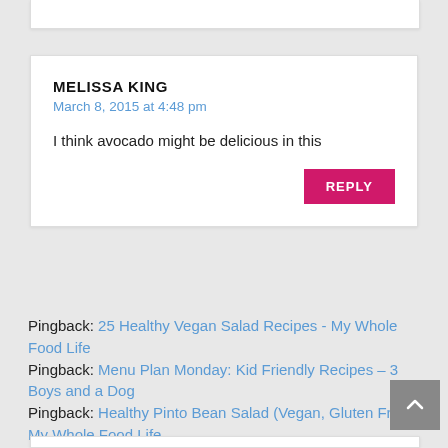MELISSA KING
March 8, 2015 at 4:48 pm
I think avocado might be delicious in this
REPLY
Pingback: 25 Healthy Vegan Salad Recipes - My Whole Food Life
Pingback: Menu Plan Monday: Kid Friendly Recipes – 3 Boys and a Dog
Pingback: Healthy Pinto Bean Salad (Vegan, Gluten Free) - My Whole Food Life
Pingback: Healthy Pinto Bean Salad (Vegan, Gluten Free) – Healthy Good Life
Pingback: Healthy Pinto Bean Salad (Vegan, Gluten Free) – allfoodsmagazine.com